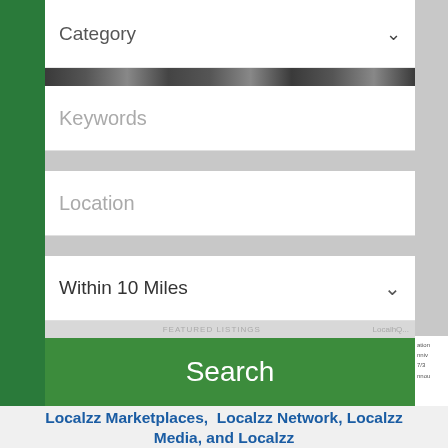[Figure (screenshot): Category dropdown field at top of search form]
Keywords
Location
Within 10 Miles
Search
Localzz Marketplaces, Localzz Network, Localzz Media, and Localzz
National to local brands, marketplaces, directories, and media destinations
Adizze | Advertiserzz | Bizizze | Brandizze | Businessezz | Businessizze | Categoriezz | Citiezz | Cityizze | Communitiezz |
Dailyizze | Digitalizze | Featureizze | Featurezz | Freelancerzz |
[Figure (other): Social media sharing bar with Facebook, Twitter, LinkedIn, Pinterest, and More buttons]